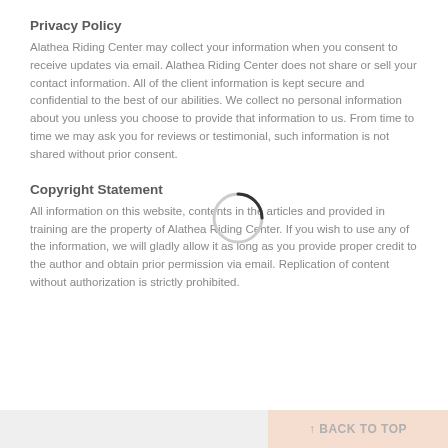Privacy Policy
Alathea Riding Center may collect your information when you consent to receive updates via email. Alathea Riding Center does not share or sell your contact information. All of the client information is kept secure and confidential to the best of our abilities. We collect no personal information about you unless you choose to provide that information to us. From time to time we may ask you for reviews or testimonial, such information is not shared without prior consent.
Copyright Statement
All information on this website, contents in the articles and provided in training are the property of Alathea Riding Center. If you wish to use any of the information, we will gladly allow it as long as you provide proper credit to the author and obtain prior permission via email. Replication of content without authorization is strictly prohibited.